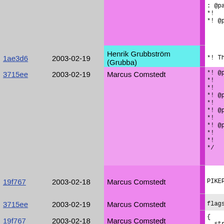| hash | date | author | code |
| --- | --- | --- | --- |
| (top overflow) | 2003-02-19 | (top overflow) | : @param
*!    The
*! @param |
| 1ae3d6 | 2003-02-19 | Henrik Grubbström (Grubba) | *!    The |
| 3715ee | 2003-02-19 | Marcus Comstedt | *! @param
*!    The
*!    init
*! @param
*!    The
*! @param
*!    The
*! @param
*!    The
*!    shou
*/ |
| 19f767 | 2003-02-18 | Marcus Comstedt | PIKEFUN vo |
| 3715ee | 2003-02-19 | Marcus Comstedt | flags ID |
| 19f767 | 2003-02-18 | Marcus Comstedt | {
  struct b |
| 3715ee | 2003-02-19 | Marcus Comstedt |   if (base
    Pike_e
  if (tmin
    Pike_e
  if (skew |